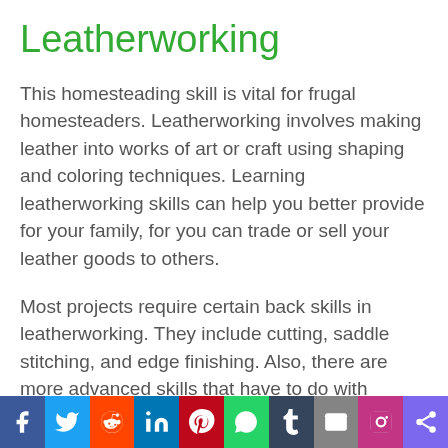Leatherworking
This homesteading skill is vital for frugal homesteaders. Leatherworking involves making leather into works of art or craft using shaping and coloring techniques. Learning leatherworking skills can help you better provide for your family, for you can trade or sell your leather goods to others.
Most projects require certain back skills in leatherworking. They include cutting, saddle stitching, and edge finishing. Also, there are more advanced skills that have to do with refining
[Figure (infographic): Social media sharing bar with icons for Facebook, Twitter, Reddit, LinkedIn, Pinterest, WhatsApp, Tumblr, Email, Instagram, and Share]